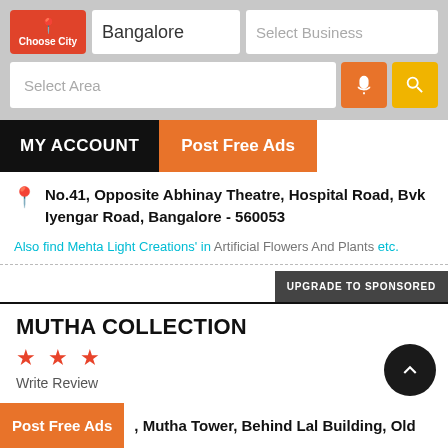[Figure (screenshot): Mobile app UI header with city selector showing Bangalore, business search input, area selector, microphone and search buttons, MY ACCOUNT and Post Free Ads navigation buttons]
No.41, Opposite Abhinay Theatre, Hospital Road, Bvk Iyengar Road, Bangalore - 560053
Also find Mehta Light Creations' in Artificial Flowers And Plants etc.
UPGRADE TO SPONSORED
MUTHA COLLECTION
★ ★ ★
Write Review
, Mutha Tower, Behind Lal Building, Old